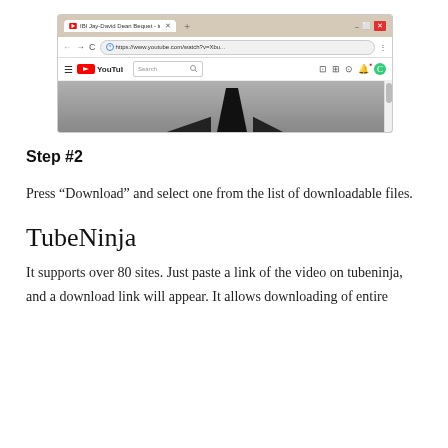[Figure (screenshot): Browser screenshot showing a YouTube video page with URL https://www.youtube.com/watch?v=Xbu... open in Chrome browser, displaying a partially visible video thumbnail with dark shapes on a grey background.]
Step #2
Press “Download” and select one from the list of downloadable files.
TubeNinja
It supports over 80 sites. Just paste a link of the video on tubeninja, and a download link will appear. It allows downloading of entire